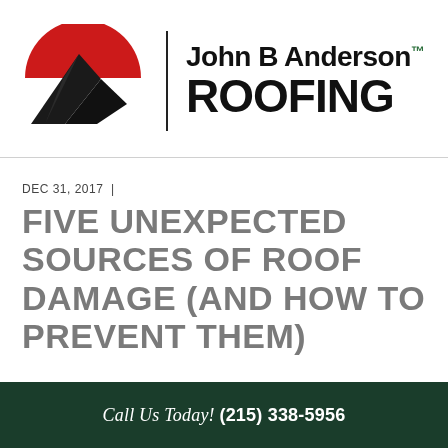[Figure (logo): John B Anderson Roofing logo: red semicircle with black house/roof silhouette, vertical black divider line, company name in bold black text with green trademark symbol]
DEC 31, 2017  |
FIVE UNEXPECTED SOURCES OF ROOF DAMAGE (AND HOW TO PREVENT THEM)
Call Us Today! (215) 338-5956